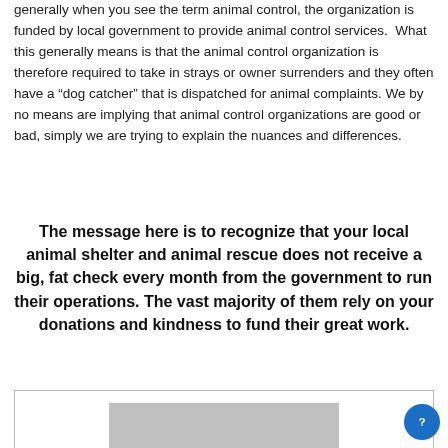generally when you see the term animal control, the organization is funded by local government to provide animal control services. What this generally means is that the animal control organization is therefore required to take in strays or owner surrenders and they often have a “dog catcher” that is dispatched for animal complaints. We by no means are implying that animal control organizations are good or bad, simply we are trying to explain the nuances and differences.
The message here is to recognize that your local animal shelter and animal rescue does not receive a big, fat check every month from the government to run their operations. The vast majority of them rely on your donations and kindness to fund their great work.
[Figure (photo): A partially visible image inside a bordered box at the bottom of the page, showing a gray/light-colored image area.]